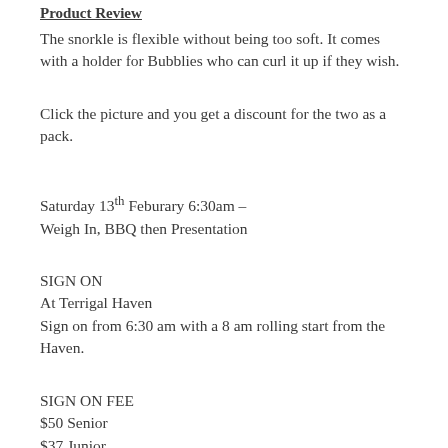Product Review
The snorkle is flexible without being too soft. It comes with a holder for Bubblies who can curl it up if they wish.
Click the picture and you get a discount for the two as a pack.
Saturday 13th Feburary 6:30am – Weigh In, BBQ then Presentation
SIGN ON
At Terrigal Haven
Sign on from 6:30 am with a 8 am rolling start from the Haven.
SIGN ON FEE
$50 Senior
$37 Junior